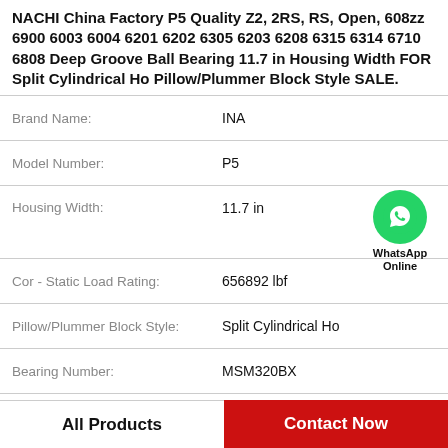NACHI China Factory P5 Quality Z2, 2RS, RS, Open, 608zz 6900 6003 6004 6201 6202 6305 6203 6208 6315 6314 6710 6808 Deep Groove Ball Bearing 11.7 in Housing Width FOR Split Cylindrical Ho Pillow/Plummer Block Style SALE.
| Property | Value |
| --- | --- |
| Brand Name: | INA |
| Model Number: | P5 |
| Housing Width: | 11.7 in |
| Cor - Static Load Rating: | 656892 lbf |
| Pillow/Plummer Block Style: | Split Cylindrical Ho |
| Bearing Number: | MSM320BX |
| Maximum Speed: | 550 rpm |
[Figure (logo): WhatsApp Online green circle icon with phone handset, label reads WhatsApp Online]
All Products
Contact Now